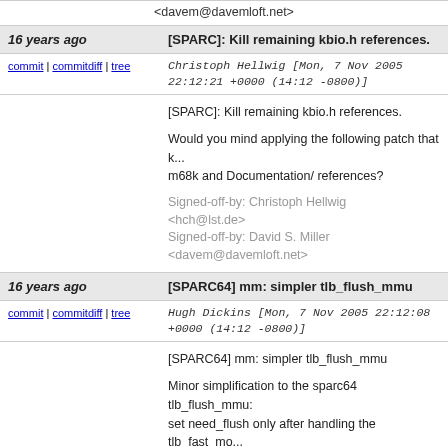<davem@davemloft.net>
16 years ago | [SPARC]: Kill remaining kbio.h references.
commit | commitdiff | tree   Christoph Hellwig [Mon, 7 Nov 2005 22:12:21 +0000 (14:12 -0800)]
[SPARC]: Kill remaining kbio.h references.

Would you mind applying the following patch that kills the remaining m68k and Documentation/ references?

Signed-off-by: Christoph Hellwig <hch@lst.de>
Signed-off-by: David S. Miller <davem@davemloft.net>
16 years ago | [SPARC64] mm: simpler tlb_flush_mmu
commit | commitdiff | tree   Hugh Dickins [Mon, 7 Nov 2005 22:12:08 +0000 (14:12 -0800)]
[SPARC64] mm: simpler tlb_flush_mmu

Minor simplification to the sparc64 tlb_flush_mmu: set need_flush only after handling the tlb_fast_mo... tlb_flush_mmu need not consider whether it's tlb_f...

Signed-off-by: Hugh Dickins <hugh@veritas.com>
Signed-off-by: David S. Miller